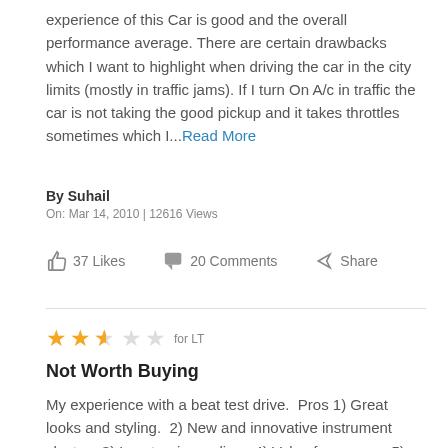experience of this Car is good and the overall performance average. There are certain drawbacks which I want to highlight when driving the car in the city limits (mostly in traffic jams). If I turn On A/c in traffic the car is not taking the good pickup and it takes throttles sometimes which I...Read More
By Suhail
On: Mar 14, 2010 | 12616 Views
37 Likes   20 Comments   Share
★★★☆☆ for LT
Not Worth Buying
My experience with a beat test drive.  Pros 1) Great looks and styling.  2) New and innovative instrument cluster.  3) Low turning radius.  4) Value for money.  5) Great A/C.  Cons 1)